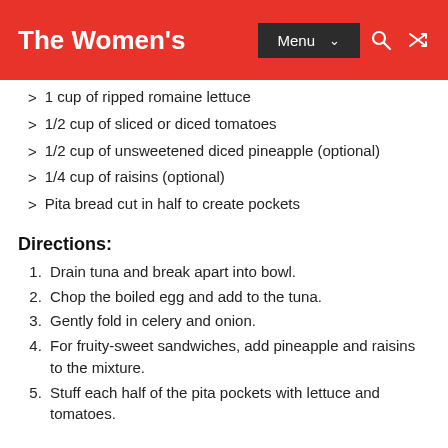The Women's | Menu
1 cup of ripped romaine lettuce
1/2 cup of sliced or diced tomatoes
1/2 cup of unsweetened diced pineapple (optional)
1/4 cup of raisins (optional)
Pita bread cut in half to create pockets
Directions:
Drain tuna and break apart into bowl.
Chop the boiled egg and add to the tuna.
Gently fold in celery and onion.
For fruity-sweet sandwiches, add pineapple and raisins to the mixture.
Stuff each half of the pita pockets with lettuce and tomatoes.